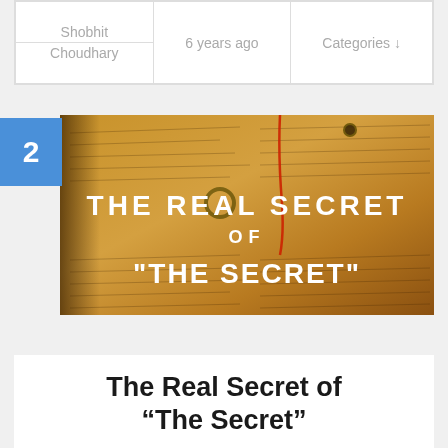| Shobhit
Choudhary | 6 years ago | Categories ↓ |
[Figure (photo): Book page with handwritten text overlay reading 'THE REAL SECRET OF "THE SECRET"' in white bold letters on an aged manuscript background]
The Real Secret of “The Secret”